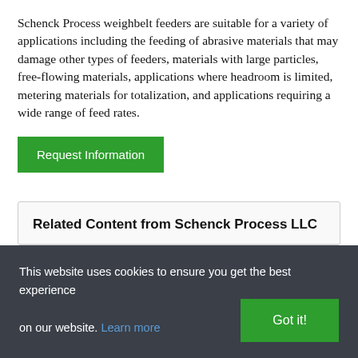Schenck Process weighbelt feeders are suitable for a variety of applications including the feeding of abrasive materials that may damage other types of feeders, materials with large particles, free-flowing materials, applications where headroom is limited, metering materials for totalization, and applications requiring a wide range of feed rates.
Request Information
Related Content from Schenck Process LLC
This website uses cookies to ensure you get the best experience on our website. Learn more
Got it!